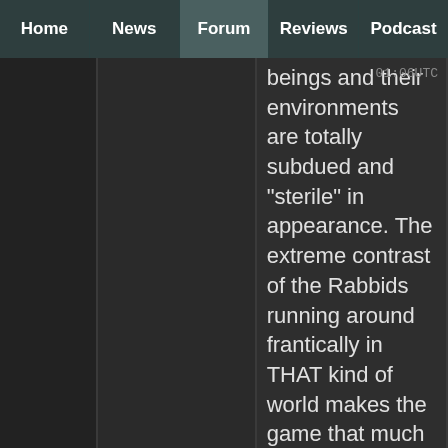Home | News | Forum | Reviews | Podcast
01:06UTC
beings and their environments are totally subdued and "sterile" in appearance. The extreme contrast of the Rabbids running around frantically in THAT kind of world makes the game that much more humorous.